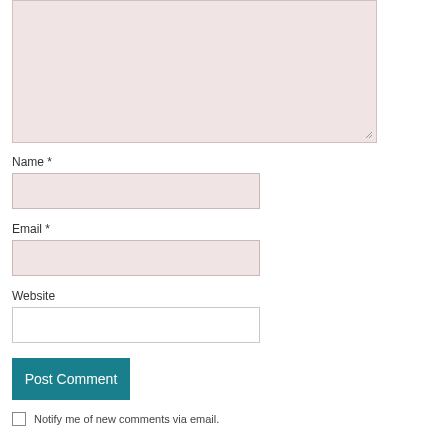[Figure (screenshot): A comment form textarea with pinkish-rose background color, with a resize handle at the bottom right corner.]
Name *
[Figure (screenshot): A text input field for Name with pinkish-rose background.]
Email *
[Figure (screenshot): A text input field for Email with pinkish-rose background.]
Website
[Figure (screenshot): A text input field for Website with white background.]
Post Comment
Notify me of new comments via email.